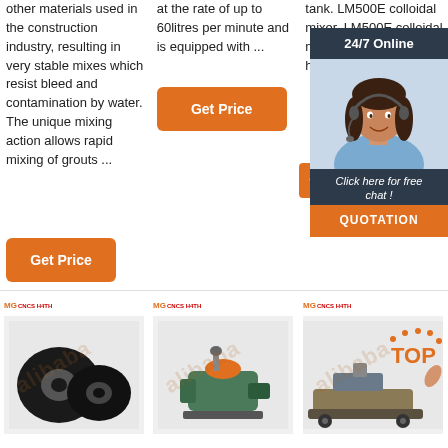other materials used in the construction industry, resulting in very stable mixes which resist bleed and contamination by water. The unique mixing action allows rapid mixing of grouts ...
at the rate of up to 60litres per minute and is equipped with ...
tank. LM500E colloidal mixer. LM500E colloidal mixer is a high speed high-effici...
[Figure (screenshot): 24/7 Online chat widget with woman wearing headset, Click here for free chat!, QUOTATION button]
[Figure (photo): Industrial circular rubber/metal disc parts product photo with logo MG CNCS H4TH]
[Figure (photo): Industrial pump/motor machinery product photo with logo MG CNCS H4TH]
[Figure (photo): Industrial construction machinery product photo with TOP label and logo MG CNCS H4TH]